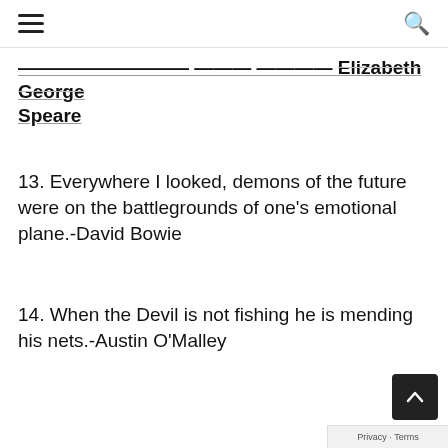[hamburger menu] [search icon]
the Witch of Blackbird Pond- Elizabeth George Speare
13. Everywhere I looked, demons of the future were on the battlegrounds of one’s emotional plane.-David Bowie
14. When the Devil is not fishing he is mending his nets.-Austin O’Malley